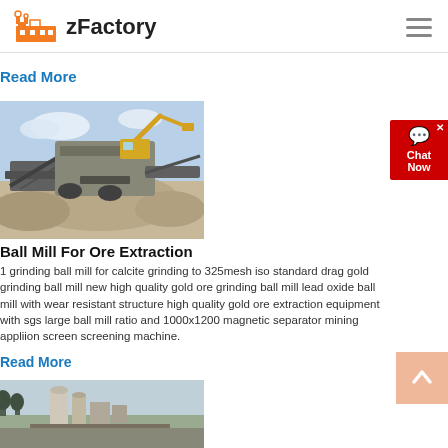zFactory
Read More
[Figure (photo): Industrial mining/crushing machinery with excavator and conveyor belts at a quarry site]
Ball Mill For Ore Extraction
1 grinding ball mill for calcite grinding to 325mesh iso standard drag gold grinding ball mill new high quality gold ore grinding ball mill lead oxide ball mill with wear resistant structure high quality gold ore extraction equipment with sgs large ball mill ratio and 1000x1200 magnetic separator mining appliion screen screening machine.
Read More
[Figure (photo): Industrial processing plant with silos and machinery at a quarry or mining site]